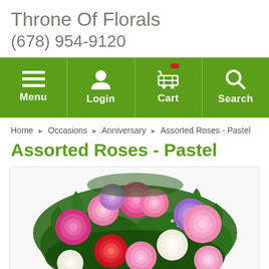Throne Of Florals
(678) 954-9120
[Figure (screenshot): Navigation bar with green background containing Menu, Login, Cart, and Search icons]
Home › Occasions › Anniversary › Assorted Roses - Pastel
Assorted Roses - Pastel
[Figure (photo): A bouquet of assorted pastel roses in pink, magenta, red, white, and purple colors with green foliage]